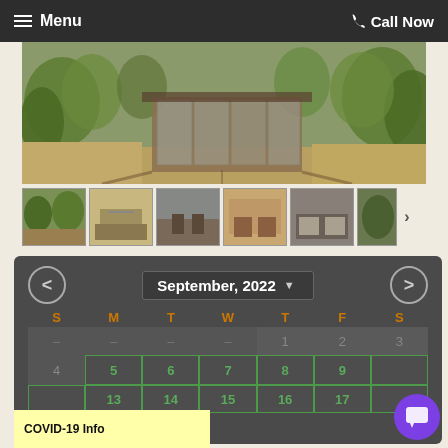Menu   Call Now
[Figure (photo): Aerial view of a cabin/house surrounded by trees and dry grass, with a glass-walled porch structure visible]
[Figure (photo): Row of property thumbnail photos: exterior with trees, living room with table, porch with chairs, chairs by window, bedroom, partial exterior]
[Figure (screenshot): Calendar widget showing September, 2022 with navigation arrows, day headers S M T W T F S, and date cells. First visible row shows dashes for days before Sep 1, then 1, 2, 3. Second row shows 4 (greyed), 5, 6, 7, 8, 9 with green borders. Third row partially visible showing 13, 14, 15, 16, 17.]
COVID-19 Info